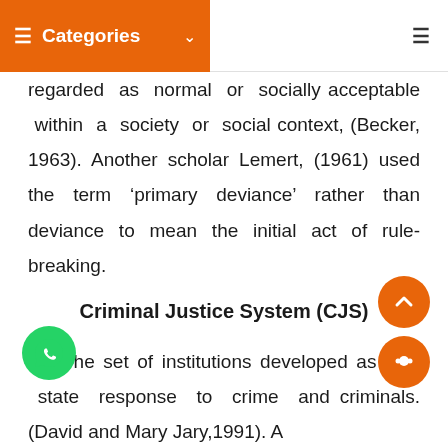Categories
regarded as normal or socially acceptable within a society or social context, (Becker, 1963). Another scholar Lemert, (1961) used the term 'primary deviance' rather than deviance to mean the initial act of rule-breaking.
Criminal Justice System (CJS)
The set of institutions developed as the state response to crime and criminals. (David and Mary Jary,1991). A